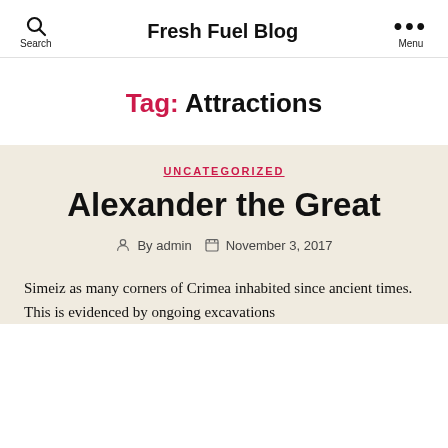Fresh Fuel Blog
Tag: Attractions
UNCATEGORIZED
Alexander the Great
By admin  November 3, 2017
Simeiz as many corners of Crimea inhabited since ancient times. This is evidenced by ongoing excavations